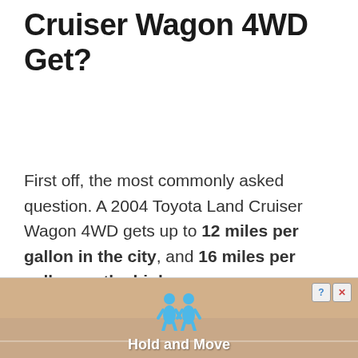Cruiser Wagon 4WD Get?
First off, the most commonly asked question. A 2004 Toyota Land Cruiser Wagon 4WD gets up to 12 miles per gallon in the city, and 16 miles per gallon on the highway.
[Figure (other): Advertisement banner showing two blue cartoon figures with text 'Hold and Move' on a sandy/road background with close and help buttons.]